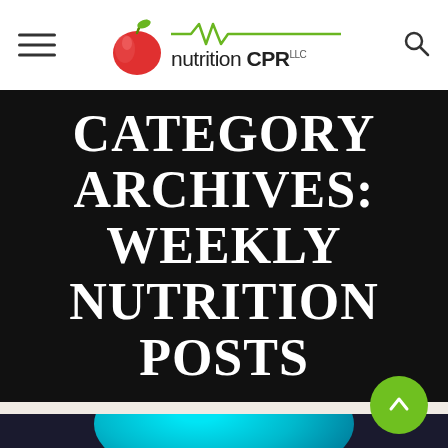[Figure (logo): Nutrition CPR LLC logo with apple and heartbeat line graphic, green and dark text]
CATEGORY ARCHIVES: WEEKLY NUTRITION POSTS
[Figure (photo): Partial view of a teal/cyan colored circular object on dark background at bottom of page]